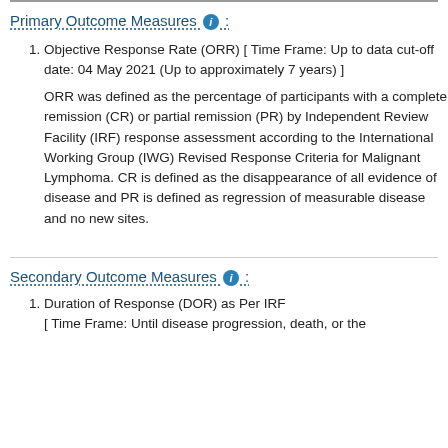Primary Outcome Measures :
Objective Response Rate (ORR) [ Time Frame: Up to data cut-off date: 04 May 2021 (Up to approximately 7 years) ]
ORR was defined as the percentage of participants with a complete remission (CR) or partial remission (PR) by Independent Review Facility (IRF) response assessment according to the International Working Group (IWG) Revised Response Criteria for Malignant Lymphoma. CR is defined as the disappearance of all evidence of disease and PR is defined as regression of measurable disease and no new sites.
Secondary Outcome Measures :
Duration of Response (DOR) as Per IRF [ Time Frame: Until disease progression, death, or the